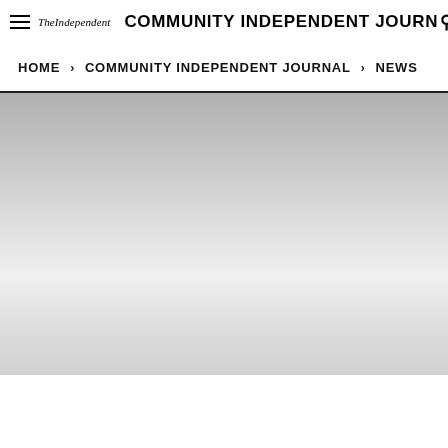TheIndependent COMMUNITY INDEPENDENT JOURNAL
HOME > COMMUNITY INDEPENDENT JOURNAL > NEWS
[Figure (photo): Hero image area with gradient grey background, lighter in the center fading to darker grey at edges and bottom]